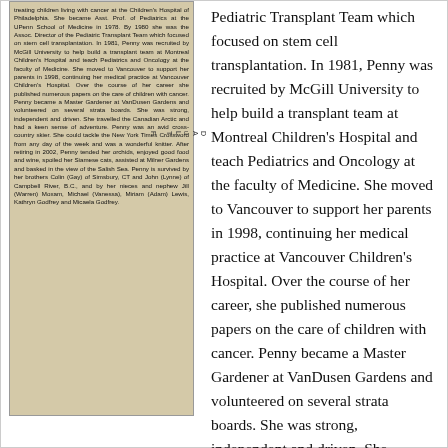[Figure (photo): Newspaper clipping showing text about Penny's career at Children's Hospital of Philadelphia, McGill University, Montreal Children's Hospital, Vancouver Children's Hospital, VanDusen Gardens, and her survivors. The clipping is printed on aged/yellowed newspaper.]
Pediatric Transplant Team which focused on stem cell transplantation. In 1981, Penny was recruited by McGill University to help build a transplant team at Montreal Children's Hospital and teach Pediatrics and Oncology at the faculty of Medicine. She moved to Vancouver to support her parents in 1998, continuing her medical practice at Vancouver Children's Hospital. Over the course of her career, she published numerous papers on the care of children with cancer. Penny became a Master Gardener at VanDusen Gardens and volunteered on several strata boards. She was strong, independent and driven. She travelled the Canadian Arctic and had a keen sense of adventure. Penny was an avid cross-country skier. She would tackle the New York Times Crossword from any